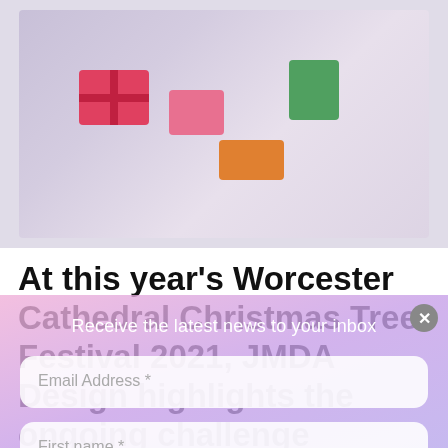[Figure (photo): Photo of colorful Christmas gifts and decorations on a dark surface, showing wrapped presents in red, pink, green, and orange colors with ribbons.]
At this year's Worcester Cathedral Christmas Tree Festival 2021, JMDA Design highlights the ongoing challenge
Receive the latest news to your inbox
Email Address *
First name *